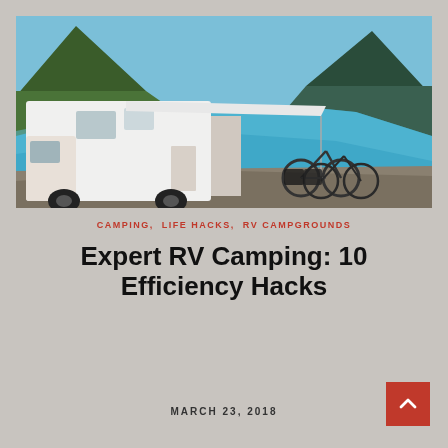[Figure (photo): White RV motorhome parked by a turquoise mountain lake with two bicycles parked beside it, surrounded by steep green mountains and blue sky.]
CAMPING, LIFE HACKS, RV CAMPGROUNDS
Expert RV Camping: 10 Efficiency Hacks
MARCH 23, 2018